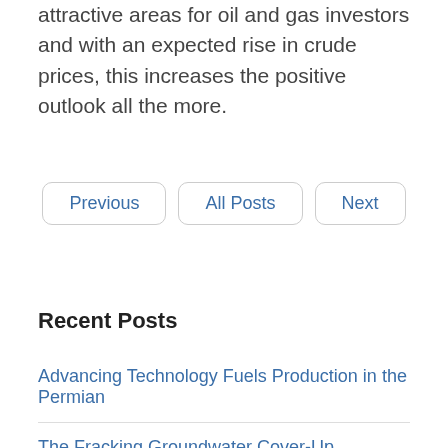attractive areas for oil and gas investors and with an expected rise in crude prices, this increases the positive outlook all the more.
Previous | All Posts | Next
Recent Posts
Advancing Technology Fuels Production in the Permian
The Fracking Groundwater Cover-Up